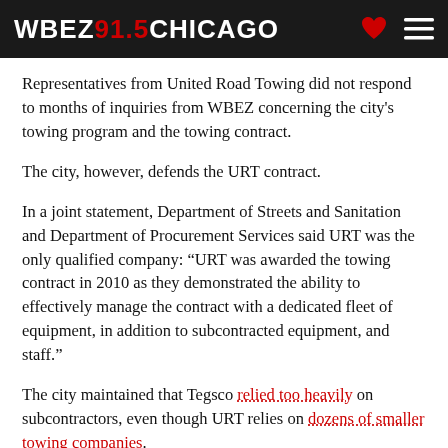WBEZ 91.5 CHICAGO
Representatives from United Road Towing did not respond to months of inquiries from WBEZ concerning the city's towing program and the towing contract.
The city, however, defends the URT contract.
In a joint statement, Department of Streets and Sanitation and Department of Procurement Services said URT was the only qualified company: “URT was awarded the towing contract in 2010 as they demonstrated the ability to effectively manage the contract with a dedicated fleet of equipment, in addition to subcontracted equipment, and staff.”
The city maintained that Tegsco relied too heavily on subcontractors, even though URT relies on dozens of smaller towing companies.